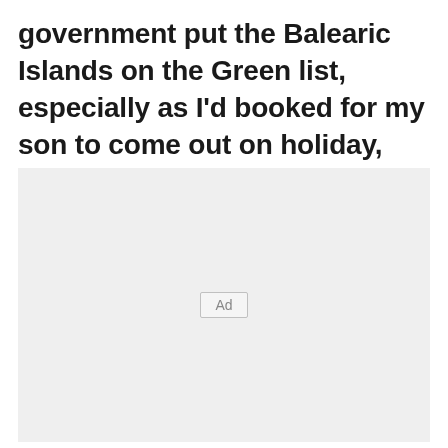government put the Balearic Islands on the Green list, especially as I'd booked for my son to come out on holiday, although it is disappointing it is going back to amber on Monday.
[Figure (other): Advertisement placeholder box with 'Ad' label in the center]